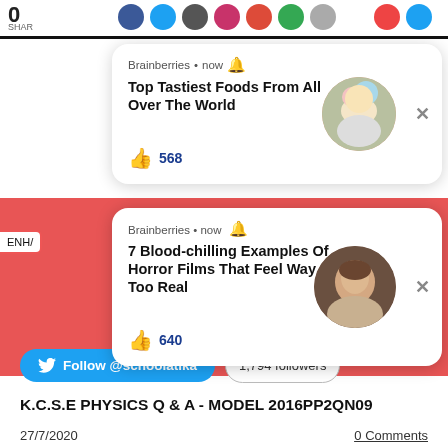[Figure (screenshot): Top bar with 0 and SHARE text, social media sharing circle icons in a row]
[Figure (screenshot): Brainberries notification card: 'Top Tastiest Foods From All Over The World' with 568 likes and food image]
[Figure (screenshot): Brainberries notification card: '7 Blood-chilling Examples Of Horror Films That Feel Way Too Real' with 640 likes and woman portrait image]
[Figure (screenshot): Twitter Follow @schoolatika button and 1,794 followers badge]
K.C.S.E PHYSICS Q & A - MODEL 2016PP2QN09
27/7/2020
0 Comments